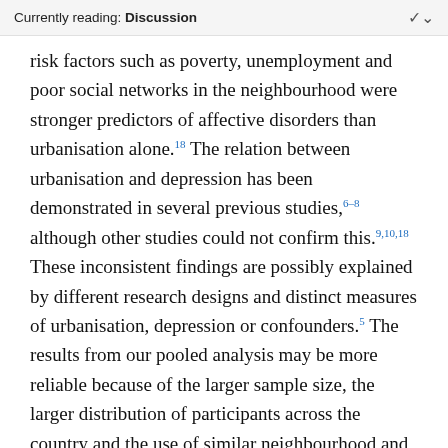Currently reading: Discussion
risk factors such as poverty, unemployment and poor social networks in the neighbourhood were stronger predictors of affective disorders than urbanisation alone.18 The relation between urbanisation and depression has been demonstrated in several previous studies,6–8 although other studies could not confirm this.9,10,18 These inconsistent findings are possibly explained by different research designs and distinct measures of urbanisation, depression or confounders.5 The results from our pooled analysis may be more reliable because of the larger sample size, the larger distribution of participants across the country and the use of similar neighbourhood and confounding variables for all cohort studies.
Socioeconomic characteristics